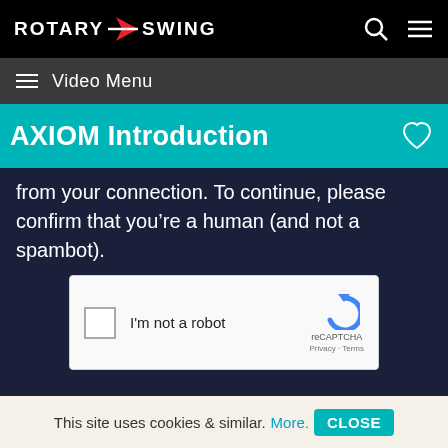ROTARY SWING
≡  Video Menu
AXIOM Introduction
from your connection. To continue, please confirm that you're a human (and not a spambot).
[Figure (screenshot): reCAPTCHA widget with checkbox 'I'm not a robot' and reCAPTCHA logo with Privacy and Terms links]
This site uses cookies & similar. More. CLOSE